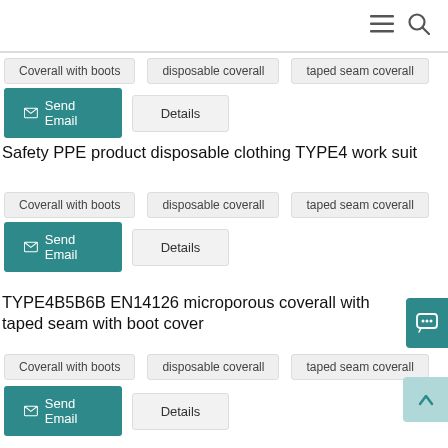navigation bar with menu and search icons
Coverall with boots   disposable coverall   taped seam coverall
Send Email   Details
Safety PPE product disposable clothing TYPE4 work suit
Coverall with boots   disposable coverall   taped seam coverall
Send Email   Details
TYPE4B5B6B EN14126 microporous coverall with taped seam with boot cover
Coverall with boots   disposable coverall   taped seam coverall
Send Email   Details